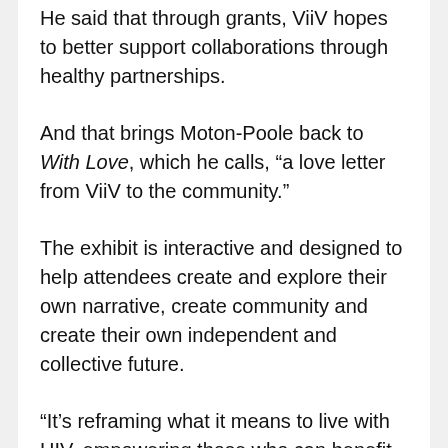He said that through grants, ViiV hopes to better support collaborations through healthy partnerships.
And that brings Moton-Poole back to With Love, which he calls, “a love letter from ViiV to the community.”
The exhibit is interactive and designed to help attendees create and explore their own narrative, create community and create their own independent and collective future.
“It’s reframing what it means to live with HIV, empowering those who can benefit from PrEP,” Moton-Poole said.
It’s also a way to let the know that there’s a...